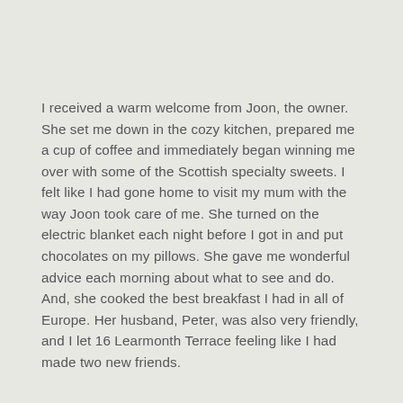I received a warm welcome from Joon, the owner. She set me down in the cozy kitchen, prepared me a cup of coffee and immediately began winning me over with some of the Scottish specialty sweets. I felt like I had gone home to visit my mum with the way Joon took care of me. She turned on the electric blanket each night before I got in and put chocolates on my pillows. She gave me wonderful advice each morning about what to see and do. And, she cooked the best breakfast I had in all of Europe. Her husband, Peter, was also very friendly, and I let 16 Learmonth Terrace feeling like I had made two new friends.